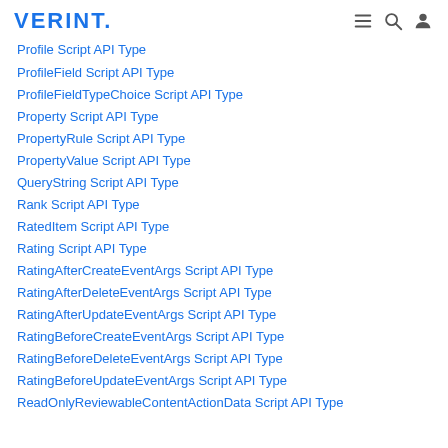VERINT.
Profile Script API Type
ProfileField Script API Type
ProfileFieldTypeChoice Script API Type
Property Script API Type
PropertyRule Script API Type
PropertyValue Script API Type
QueryString Script API Type
Rank Script API Type
RatedItem Script API Type
Rating Script API Type
RatingAfterCreateEventArgs Script API Type
RatingAfterDeleteEventArgs Script API Type
RatingAfterUpdateEventArgs Script API Type
RatingBeforeCreateEventArgs Script API Type
RatingBeforeDeleteEventArgs Script API Type
RatingBeforeUpdateEventArgs Script API Type
ReadOnlyReviewableContentActionData Script API Type